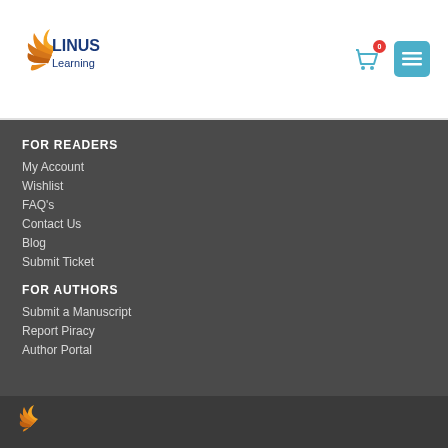Linus Learning
FOR READERS
My Account
Wishlist
FAQ's
Contact Us
Blog
Submit Ticket
FOR AUTHORS
Submit a Manuscript
Report Piracy
Author Portal
Linus Learning logo footer